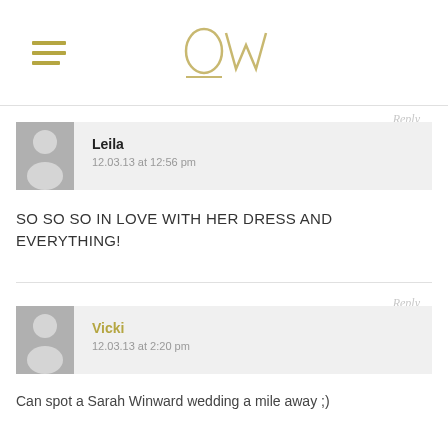OW (logo with hamburger menu)
Reply
[Figure (illustration): User avatar placeholder with person silhouette icon, grey background]
Leila
12.03.13 at 12:56 pm
SO SO SO IN LOVE WITH HER DRESS AND EVERYTHING!
Reply
[Figure (illustration): User avatar placeholder with person silhouette icon, grey background]
Vicki
12.03.13 at 2:20 pm
Can spot a Sarah Winward wedding a mile away ;)